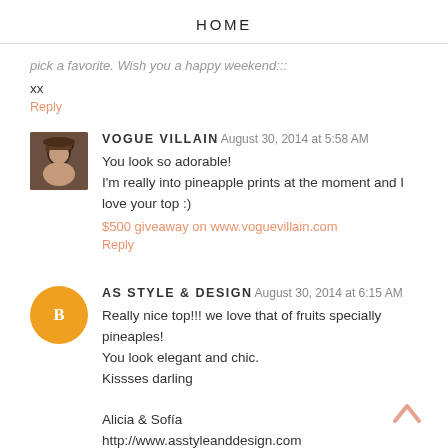HOME
pick a favorite. Wish you a happy weekend:::
xx
Reply
VOGUE VILLAIN August 30, 2014 at 5:58 AM
You look so adorable!
I'm really into pineapple prints at the moment and I love your top :)
$500 giveaway on www.voguevillain.com
Reply
AS STYLE & DESIGN August 30, 2014 at 6:15 AM
Really nice top!!! we love that of fruits specially pineaples!
You look elegant and chic.
Kissses darling

Alicia & Sofía
http://www.asstyleanddesign.com